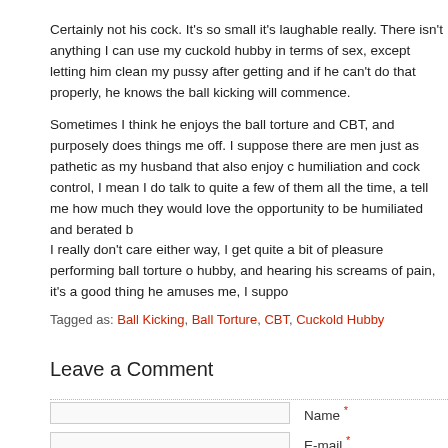Certainly not his cock. It's so small it's laughable really. There isn't anything I can use my cuckold hubby in terms of sex, except letting him clean my pussy after getting and if he can't do that properly, he knows the ball kicking will commence.
Sometimes I think he enjoys the ball torture and CBT, and purposely does things to me off. I suppose there are men just as pathetic as my husband that also enjoy c humiliation and cock control, I mean I do talk to quite a few of them all the time, a tell me how much they would love the opportunity to be humiliated and berated b
I really don't care either way, I get quite a bit of pleasure performing ball torture o hubby, and hearing his screams of pain, it's a good thing he amuses me, I suppo
Tagged as: Ball Kicking, Ball Torture, CBT, Cuckold Hubby
Leave a Comment
Name *
E-mail *